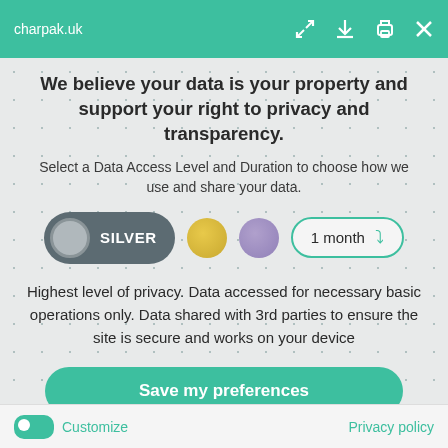charpak.uk
We believe your data is your property and support your right to privacy and transparency.
Select a Data Access Level and Duration to choose how we use and share your data.
[Figure (infographic): Data access level selector row with SILVER pill button selected (dark grey pill with grey circle icon and white SILVER text), a gold circle button, a purple circle button, and a '1 month' dropdown selector with teal border and chevron.]
Highest level of privacy. Data accessed for necessary basic operations only. Data shared with 3rd parties to ensure the site is secure and works on your device
Save my preferences
Customize   Privacy policy